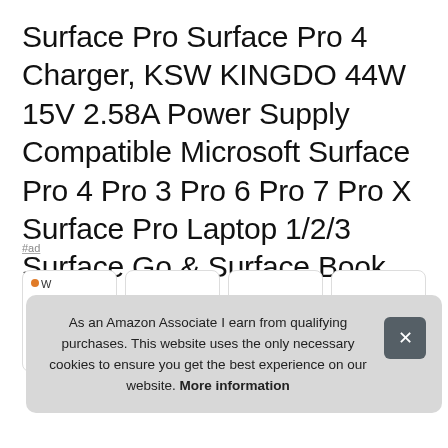Surface Pro Surface Pro 4 Charger, KSW KINGDO 44W 15V 2.58A Power Supply Compatible Microsoft Surface Pro 4 Pro 3 Pro 6 Pro 7 Pro X Surface Pro Laptop 1/2/3 Surface Go & Surface Book with Travel Case
#ad
[Figure (screenshot): Row of product listing cards partially visible]
As an Amazon Associate I earn from qualifying purchases. This website uses the only necessary cookies to ensure you get the best experience on our website. More information